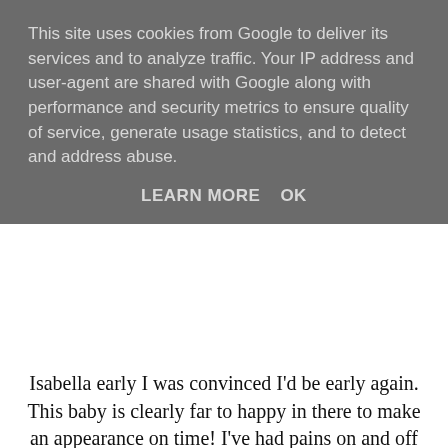This site uses cookies from Google to deliver its services and to analyze traffic. Your IP address and user-agent are shared with Google along with performance and security metrics to ensure quality of service, generate usage statistics, and to detect and address abuse.
LEARN MORE   OK
Isabella early I was convinced I'd be early again. This baby is clearly far to happy in there to make an appearance on time! I've had pains on and off during the week, but they've not turned into anything significant and so goes on the 'is this it?' guessing game! I keep going between getting really impatient to meet our second daughter and trying to enjoy the peace before the all consuming life with a newborn. It's a funny one. Other than waiting around for baby to appear I've not done much else, mainly through fear my waters will break if I leave the house alone! They